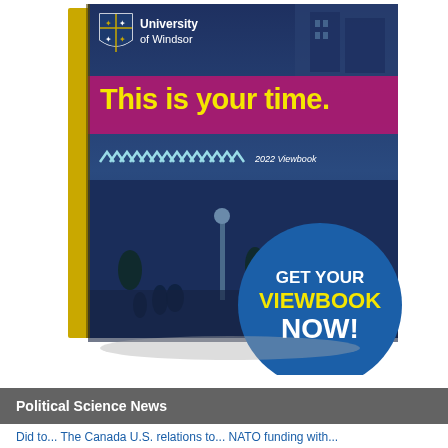[Figure (illustration): University of Windsor 2022 Viewbook cover mockup showing a 3D book with campus photo, 'This is your time.' tagline in yellow text on a magenta bar, chevron design elements, and a blue circular call-to-action badge reading 'GET YOUR VIEWBOOK NOW!' overlaying the bottom-right of the book cover.]
Political Science News
Did to... The Canada U.S. relations as... NATO funding with...